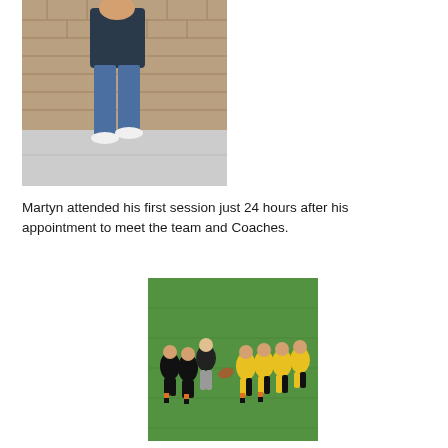[Figure (photo): A person standing outdoors near a brick wall, wearing a dark puffer jacket, jeans, and white shoes.]
Martyn attended his first session just 24 hours after his appointment to meet the team and Coaches.
[Figure (photo): Children playing rugby on a grass field, wearing black and yellow/black striped kit, forming a scrum or ruck.]